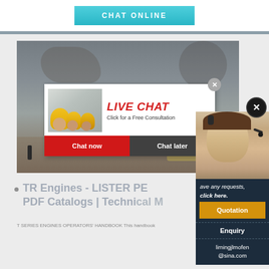[Figure (screenshot): Website screenshot showing CHAT ONLINE button at top, a construction/mining site background image with workers in yellow hard hats, a live chat popup overlay with 'LIVE CHAT - Click for a Free Consultation' text, Chat now and Chat later buttons, a right sidebar panel showing a customer service agent with headset, Quotation and Enquiry buttons, email contact limingjlmofen@sina.com, and partial page title 'TR Engines - LISTER PE... PDF Catalogs | Technical...' with text 'T SERIES ENGINES OPERATORS' HANDBOOK This handbook']